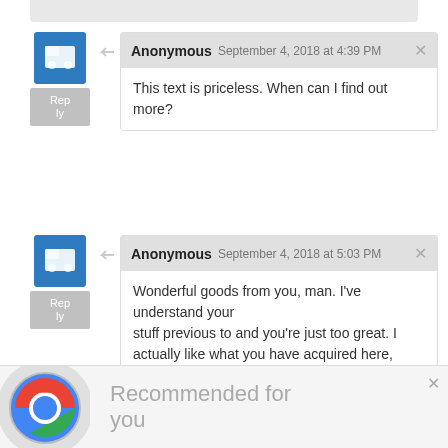Anonymous September 4, 2018 at 4:39 PM
This text is priceless. When can I find out more?
Anonymous September 4, 2018 at 5:03 PM
Wonderful goods from you, man. I've understand your stuff previous to and you're just too great. I actually like what you have acquired here, certainly like what you are stating and the way in which you say it.
Recommended for you